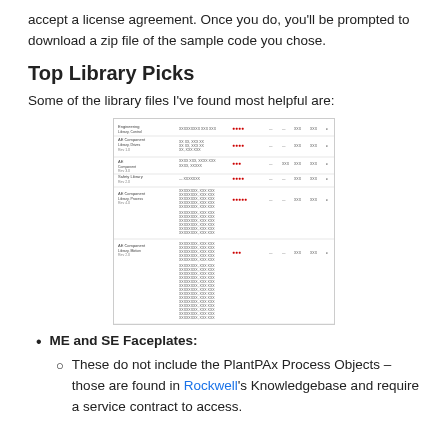accept a license agreement. Once you do, you'll be prompted to download a zip file of the sample code you chose.
Top Library Picks
Some of the library files I've found most helpful are:
[Figure (screenshot): Screenshot of a library file listing table with multiple rows showing file names, ratings (red dots), and other metadata columns.]
ME and SE Faceplates:
These do not include the PlantPAx Process Objects – those are found in Rockwell's Knowledgebase and require a service contract to access.